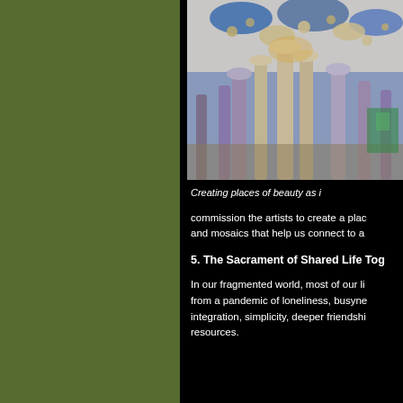[Figure (photo): Interior architectural photo of the Sagrada Familia cathedral, looking upward at the ornate branching columns and colorful stained glass ceiling]
Creating places of beauty as i
commission the artists to create a plac and mosaics that help us connect to a
5. The Sacrament of Shared Life Tog
In our fragmented world, most of our li from a pandemic of loneliness, busyne integration, simplicity, deeper friendshi resources.